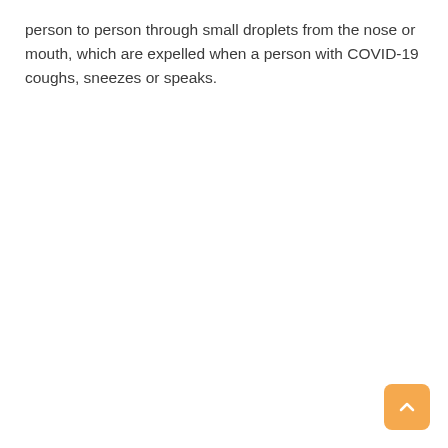person to person through small droplets from the nose or mouth, which are expelled when a person with COVID-19 coughs, sneezes or speaks.